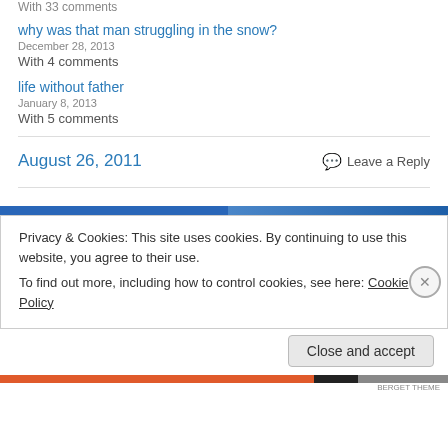With 33 comments
why was that man struggling in the snow?
December 28, 2013
With 4 comments
life without father
January 8, 2013
With 5 comments
August 26, 2011
Leave a Reply
Privacy & Cookies: This site uses cookies. By continuing to use this website, you agree to their use.
To find out more, including how to control cookies, see here: Cookie Policy
Close and accept